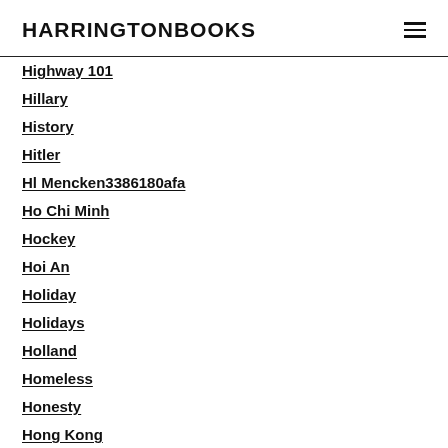HARRINGTONBOOKS
Highway 101
Hillary
History
Hitler
Hl Mencken3386180afa
Ho Chi Minh
Hockey
Hoi An
Holiday
Holidays
Holland
Homeless
Honesty
Hong Kong
Horoscope
Horses